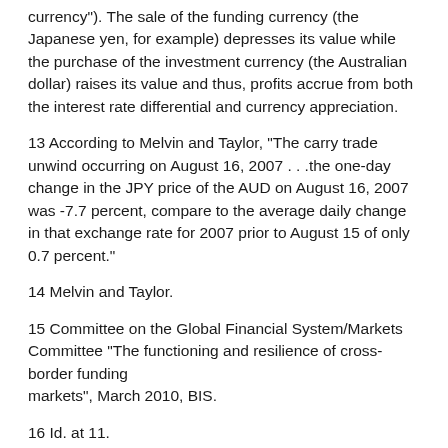currency"). The sale of the funding currency (the Japanese yen, for example) depresses its value while the purchase of the investment currency (the Australian dollar) raises its value and thus, profits accrue from both the interest rate differential and currency appreciation.
13 According to Melvin and Taylor, “The carry trade unwind occurring on August 16, 2007…the one-day change in the JPY price of the AUD on August 16, 2007 was -7.7 percent, compare to the average daily change in that exchange rate for 2007 prior to August 15 of only 0.7 percent.”
14 Melvin and Taylor.
15 Committee on the Global Financial System/Markets Committee “The functioning and resilience of cross-border funding markets”, March 2010, BIS.
16 Id. at 11.
17 Congressional Oversight Panel, June Oversight Report: